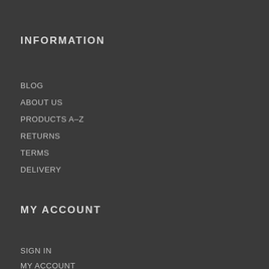INFORMATION
BLOG
ABOUT US
PRODUCTS A–Z
RETURNS
TERMS
DELIVERY
MY ACCOUNT
SIGN IN
MY ACCOUNT